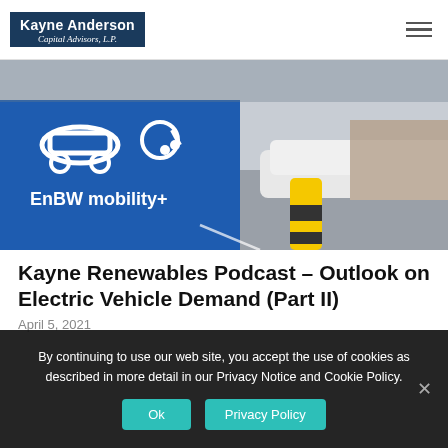Kayne Anderson Capital Advisors, L.P.
[Figure (photo): An EnBW mobility+ electric vehicle charging station sign in blue, with EV icon, a yellow and black bollard in the foreground, and a parking lot in the background.]
Kayne Renewables Podcast – Outlook on Electric Vehicle Demand (Part II)
April 5, 2021
By continuing to use our web site, you accept the use of cookies as described in more detail in our Privacy Notice and Cookie Policy.